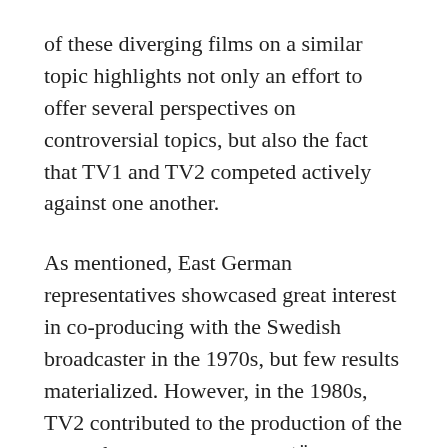of these diverging films on a similar topic highlights not only an effort to offer several perspectives on controversial topics, but also the fact that TV1 and TV2 competed actively against one another.
As mentioned, East German representatives showcased great interest in co-producing with the Swedish broadcaster in the 1970s, but few results materialized. However, in the 1980s, TV2 contributed to the production of the crime film Women Doctors (Ärztinnen, Horst Seemann, 1984) alongside the Swiss production company Monopol-Films AG and DEFA. The film, based on a play by the West German playwright Rolf Hochhuth, focuses on the cynicism of the pharmaceutical companies, and centers on a